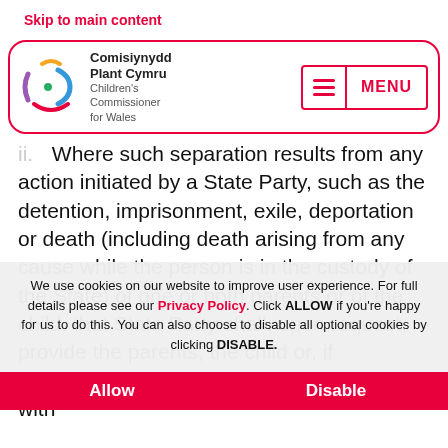Skip to main content
[Figure (logo): Children's Commissioner for Wales / Comisiynydd Plant Cymru logo with colorful circular icon and MENU button]
ii. Where such separation results from any action initiated by a State Party, such as the detention, imprisonment, exile, deportation or death (including death arising from any cause while the person is in the custody of the State) of one or both parents or of the child, that State Party shall, upon request, provide the parents, the child or, if appropriate, another member of the family with the whereabouts of the absent member(s) of the family unless the provision of the information
We use cookies on our website to improve user experience. For full details please see our Privacy Policy. Click ALLOW if you're happy for us to do this. You can also choose to disable all optional cookies by clicking DISABLE.
Allow
Disable